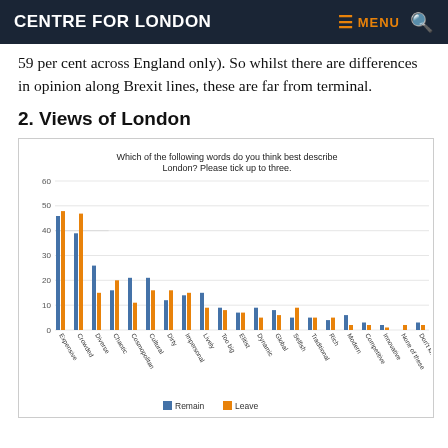CENTRE FOR LONDON
59 per cent across England only). So whilst there are differences in opinion along Brexit lines, these are far from terminal.
2. Views of London
[Figure (grouped-bar-chart): Which of the following words do you think best describe London? Please tick up to three.]